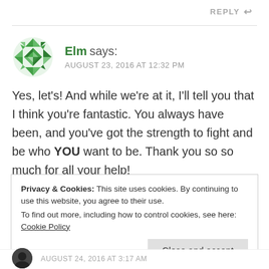REPLY
[Figure (illustration): Green geometric circular avatar for user Elm]
Elm says:
AUGUST 23, 2016 AT 12:32 PM
Yes, let's! And while we're at it, I'll tell you that I think you're fantastic. You always have been, and you've got the strength to fight and be who YOU want to be. Thank you so so much for all your help!
Privacy & Cookies: This site uses cookies. By continuing to use this website, you agree to their use.
To find out more, including how to control cookies, see here: Cookie Policy
Close and accept
AUGUST 24, 2016 AT 3:17 AM